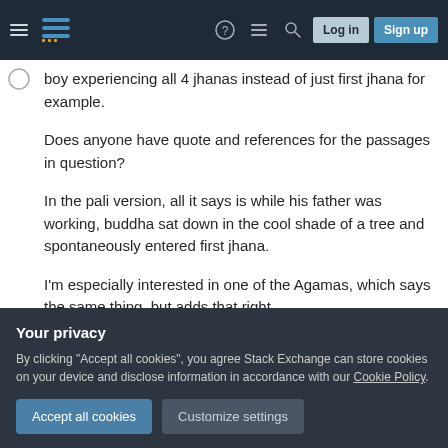Stack Exchange navigation bar with hamburger menu, logo, help, chat, search icons, Log in and Sign up buttons
boy experiencing all 4 jhanas instead of just first jhana for example.
Does anyone have quote and references for the passages in question?
In the pali version, all it says is while his father was working, buddha sat down in the cool shade of a tree and spontaneously entered first jhana.
I'm especially interested in one of the Agamas, which says the same thing, but adds that right
Your privacy
By clicking "Accept all cookies", you agree Stack Exchange can store cookies on your device and disclose information in accordance with our Cookie Policy.
Accept all cookies
Customize settings